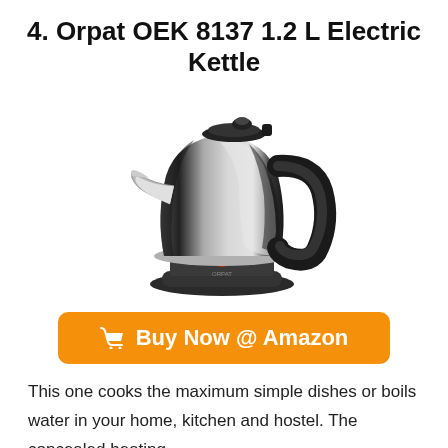4. Orpat OEK 8137 1.2 L Electric Kettle
[Figure (photo): Orpat OEK 8137 1.2 L Electric Kettle - stainless steel body with black plastic handle, black plastic base with red indicator light]
Buy Now @ Amazon
This one cooks the maximum simple dishes or boils water in your home, kitchen and hostel. The concealed heating